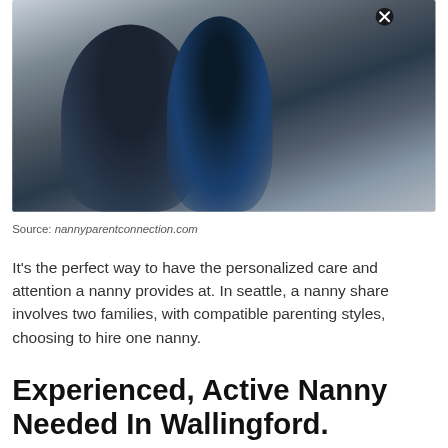[Figure (photo): Two children hugging outdoors, one child with dark hair wearing blue jacket being hugged by another child in dark clothing, background of rocks/outdoors]
Source: nannyparentconnection.com
It’s the perfect way to have the personalized care and attention a nanny provides at. In seattle, a nanny share involves two families, with compatible parenting styles, choosing to hire one nanny.
Experienced, Active Nanny Needed In Wallingford.
To join our community, please sign up here: With almost 20,000 members, care providers and parents make care connections in minutes. Our top commitment to client